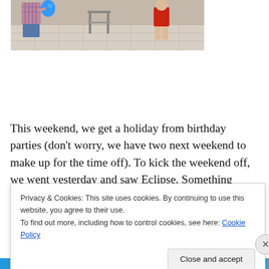[Figure (photo): Photo of two people outdoors on a tiled patio. On the left, a person in a plaid shirt and shorts holds a blue balloon. On the right, a child in a red shirt stands near a metal chair.]
This weekend, we get a holiday from birthday parties (don’t worry, we have two next weekend to make up for the time off). To kick the weekend off, we went yesterday and saw Eclipse. Something always goes wonky when we
Privacy & Cookies: This site uses cookies. By continuing to use this website, you agree to their use.
To find out more, including how to control cookies, see here: Cookie Policy
Close and accept